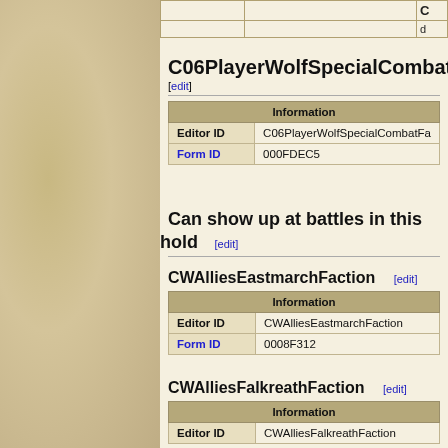|  |  | C | d |
| --- | --- | --- | --- |
C06PlayerWolfSpecialCombat
[edit]
| Information |
| --- |
| Editor ID | C06PlayerWolfSpecialCombatFa |
| Form ID | 000FDEC5 |
Can show up at battles in this hold
[edit]
CWAlliesEastmarchFaction
[edit]
| Information |
| --- |
| Editor ID | CWAlliesEastmarchFaction |
| Form ID | 0008F312 |
CWAlliesFalkreathFaction
[edit]
| Information |
| --- |
| Editor ID | CWAlliesFalkreathFaction |